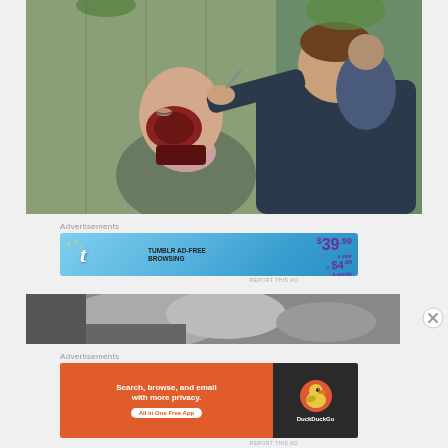[Figure (photo): Behind-the-scenes photo of a makeup artist applying special effects zombie makeup to a bald actor seated outdoors. The actor has a bloody, damaged-looking face prosthetic. The makeup artist leans in close to apply details.]
Advertisements
[Figure (screenshot): Tumblr AD-FREE BROWSING advertisement banner. Shows Tumblr 't' logo in pink/white with gold stars, text 'TUMBLR AD-FREE BROWSING', and pricing '$39.99 a year or $4.99 a month' in purple on blue gradient background.]
REPORT THIS AD
[Figure (photo): Partial view of a black and white photo at the bottom of the page, partially obscured.]
Advertisements
[Figure (screenshot): DuckDuckGo advertisement. Left side: orange background with text 'Search, browse, and email with more privacy.' and 'All in One Free App' button. Right side: dark background with DuckDuckGo duck logo and 'DuckDuckGo' text.]
REPORT THIS AD